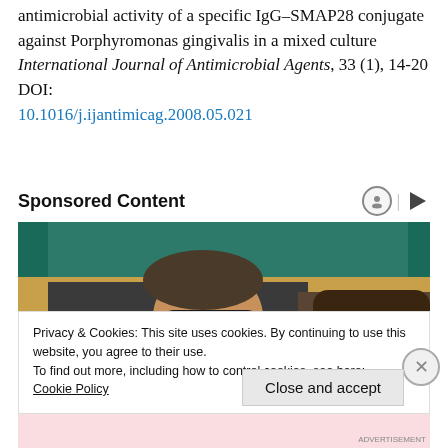antimicrobial activity of a specific IgG–SMAP28 conjugate against Porphyromonas gingivalis in a mixed culture International Journal of Antimicrobial Agents, 33 (1), 14-20 DOI: 10.1016/j.ijantimicag.2008.05.021
Sponsored Content
[Figure (photo): Photo of two people (a man and a woman wearing sunglasses) sitting in what appear to be spectator stands with teal/green chairs visible in background.]
Privacy & Cookies: This site uses cookies. By continuing to use this website, you agree to their use.
To find out more, including how to control cookies, see here: Cookie Policy
Close and accept